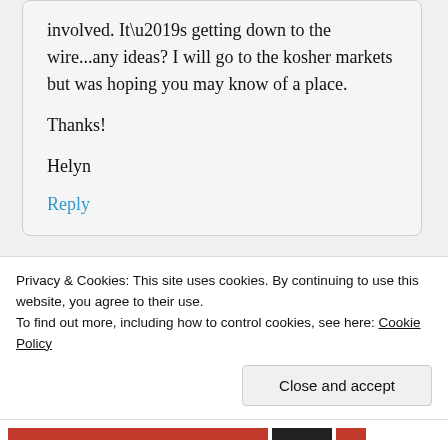involved. It’s getting down to the wire...any ideas? I will go to the kosher markets but was hoping you may know of a place.

Thanks!

Helyn
Reply
Advertisements
Privacy & Cookies: This site uses cookies. By continuing to use this website, you agree to their use.
To find out more, including how to control cookies, see here: Cookie Policy
Close and accept